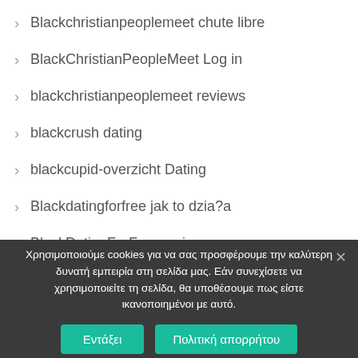Blackchristianpeoplemeet chute libre
BlackChristianPeopleMeet Log in
blackchristianpeoplemeet reviews
blackcrush dating
blackcupid-overzicht Dating
Blackdatingforfree jak to dzia?a
BlackDatingForFree review
blackfling review
blackpeoplemeet fr reviews
Χρησιμοποιούμε cookies για να σας προσφέρουμε την καλύτερη δυνατή εμπειρία στη σελίδα μας. Εάν συνεχίσετε να χρησιμοποιείτε τη σελίδα, θα υποθέσουμε πως είστε ικανοποιημένοι με αυτό.